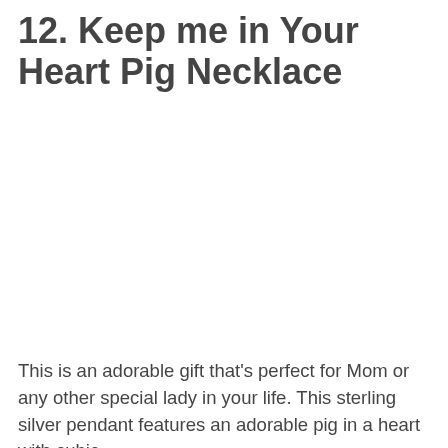12. Keep me in Your Heart Pig Necklace
This is an adorable gift that's perfect for Mom or any other special lady in your life. This sterling silver pendant features an adorable pig in a heart with cubic